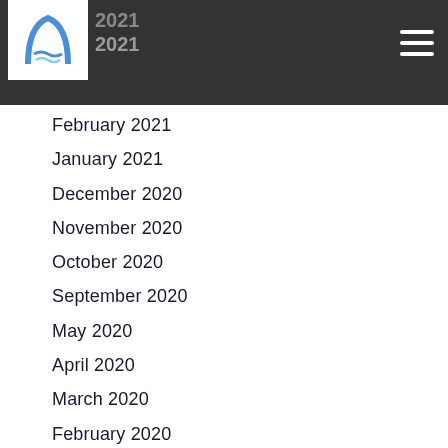2021 | 2021
February 2021
January 2021
December 2020
November 2020
October 2020
September 2020
May 2020
April 2020
March 2020
February 2020
January 2020
December 2019
November 2019
October 2019
September 2019
August 2019
July 2019